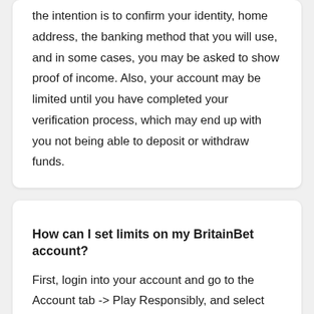the intention is to confirm your identity, home address, the banking method that you will use, and in some cases, you may be asked to show proof of income. Also, your account may be limited until you have completed your verification process, which may end up with you not being able to deposit or withdraw funds.
How can I set limits on my BritainBet account?
First, login into your account and go to the Account tab -> Play Responsibly, and select your desired limits. You get the option to add